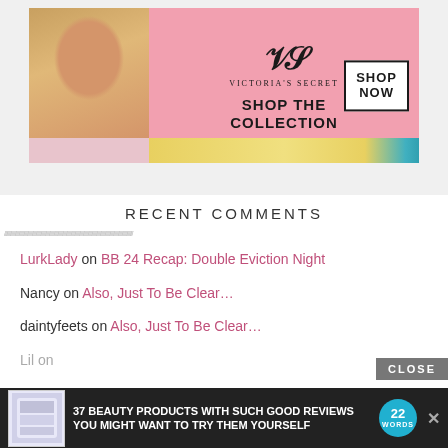[Figure (screenshot): Victoria's Secret advertisement banner showing a woman model on the left with pink background, VS logo, 'SHOP THE COLLECTION' text, and 'SHOP NOW' button]
RECENT COMMENTS
LurkLady on BB 24 Recap: Double Eviction Night
Nancy on Also, Just To Be Clear…
daintyfeets on Also, Just To Be Clear…
Lil on
[Figure (screenshot): Bottom advertisement bar: '37 BEAUTY PRODUCTS WITH SUCH GOOD REVIEWS YOU MIGHT WANT TO TRY THEM YOURSELF' with product image and 22 Words badge. CLOSE button above.]